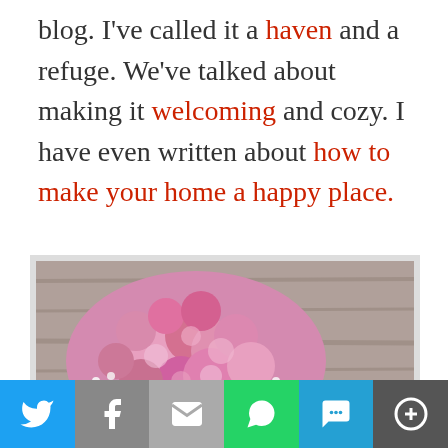blog. I've called it a haven and a refuge. We've talked about making it welcoming and cozy. I have even written about how to make your home a happy place.
[Figure (photo): A bouquet of pink roses on a wooden surface with the text 'Decorate Your' visible in white italic script on the right side.]
Social share bar: Twitter, Facebook, Email, WhatsApp, SMS, More